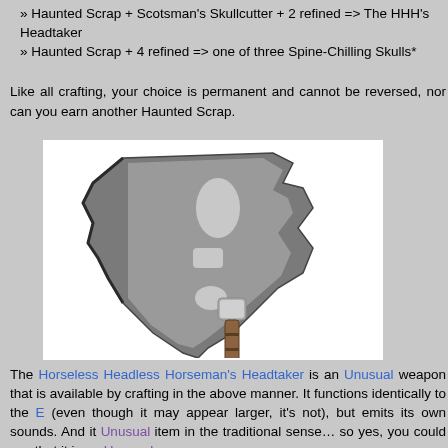» Haunted Scrap + Scotsman's Skullcutter + 2 refined => The HHH's Headtaker
» Haunted Scrap + 4 refined => one of three Spine-Chilling Skulls*
Like all crafting, your choice is permanent and cannot be reversed, nor can you earn another Haunted Scrap.
[Figure (illustration): A large grey battle axe weapon (Horseless Headless Horseman's Headtaker) with a distinctive blade shape featuring cutouts, mounted on a brown and black handle.]
The Horseless Headless Horseman's Headtaker is an Unusual weapon that is available by crafting in the above manner. It functions identically to the E... (even though it may appear larger, it's not), but emits its own sounds. And it... Unusual item in the traditional sense... so yes, you could say that it is an Unusual.